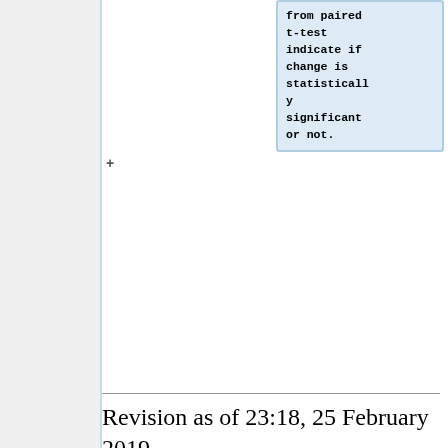from paired t-test indicate if change is statistically significant or not.
Revision as of 23:18, 25 February 2019
To test whether the difference in AUC/logAUC between two methods is statistically significant or not, AUC/logAUC of the new developed method(s) against the reference method can be compared with bootstrap.
Files needed:
ligands.name -> file with ligand